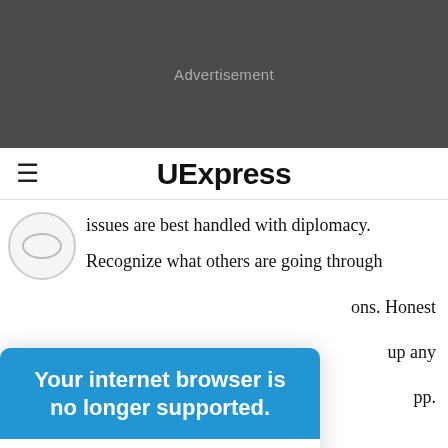[Figure (other): Gray advertisement banner with the text 'Advertisement' in light gray]
UExpress
issues are best handled with diplomacy.
Recognize what others are going through
[Figure (infographic): Blue modal popup overlay: header reads 'Your internet browser is no longer supported.' Body reads 'To get the best experience on our site, we recommend you upgrade to the latest version.']
ons. Honest
up any
pp.
- Attending an
industry event or pursuing a job offer will